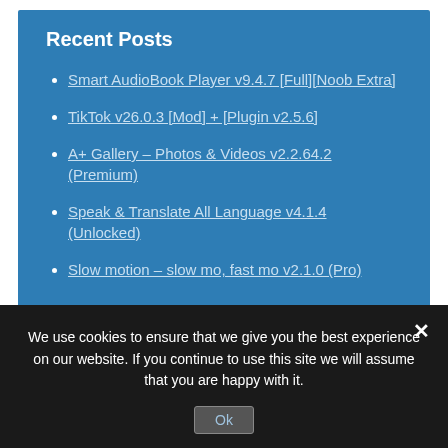Recent Posts
Smart AudioBook Player v9.4.7 [Full][Noob Extra]
TikTok v26.0.3 [Mod] + [Plugin v2.5.6]
A+ Gallery – Photos & Videos v2.2.64.2 (Premium)
Speak & Translate All Language v4.1.4 (Unlocked)
Slow motion – slow mo, fast mo v2.1.0 (Pro)
We use cookies to ensure that we give you the best experience on our website. If you continue to use this site we will assume that you are happy with it.